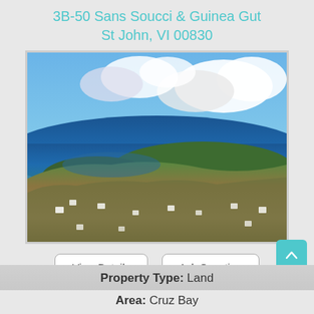3B-50 Sans Soucci & Guinea Gut
St John, VI 00830
[Figure (photo): Aerial photo of St John, VI showing lush green hillside with scattered white buildings, a bay with dark blue water, and dramatic clouds in a bright blue sky.]
View Details
Ask Question
View Photos (8)
Property Type: Land
Area: Cruz Bay